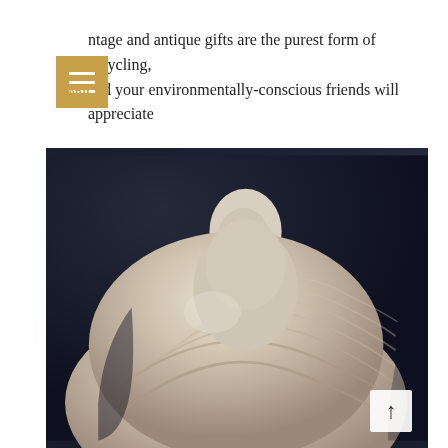Menu
ntage and antique gifts are the purest form of recycling, and your environmentally-conscious friends will appreciate your initiative.
[Figure (photo): Close-up photograph of a pale stone or shell sculpture with swirling, layered texture against a dark navy background. The form is organic and resembles a robed figure or large shell/fossil.]